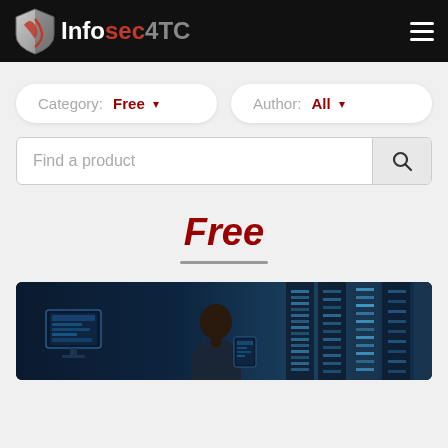Infosec4TC
Category: Free ▾   Author: All ▾
Find a product
Free
[Figure (photo): A man working at computer monitors in a dark server room with illuminated server racks in the background]